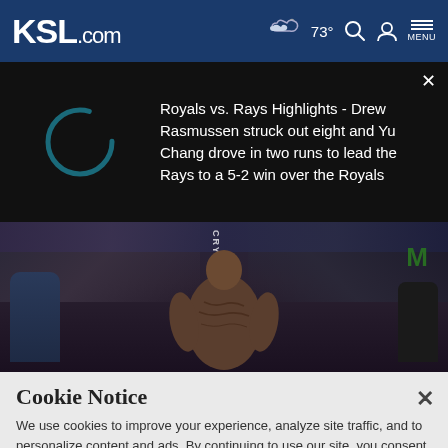KSL.com  73°  MENU
Royals vs. Rays Highlights - Drew Rasmussen struck out eight and Yu Chang drove in two runs to lead the Rays to a 5-2 win over the Royals
[Figure (photo): MMA fighter seen from behind in octagon/arena setting with crowd in background, Monster Energy branding visible]
Cookie Notice
We use cookies to improve your experience, analyze site traffic, and to personalize content and ads. By continuing to use our site, you consent to our use of cookies. Please visit our Terms of Use and Privacy Policy for more information.
Continue